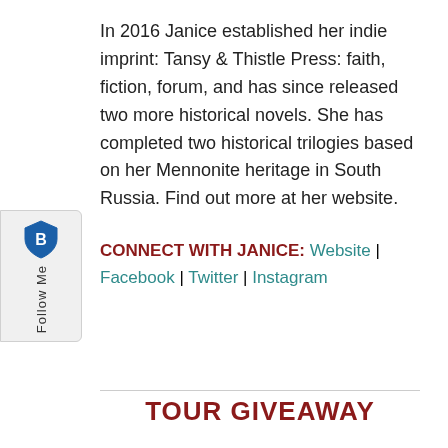In 2016 Janice established her indie imprint: Tansy & Thistle Press: faith, fiction, forum, and has since released two more historical novels. She has completed two historical trilogies based on her Mennonite heritage in South Russia. Find out more at her website.
CONNECT WITH JANICE: Website | Facebook | Twitter | Instagram
TOUR GIVEAWAY